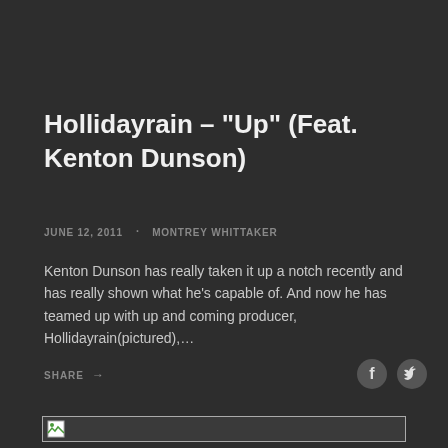Hollidayrain – "Up" (Feat. Kenton Dunson)
JUNE 12, 2011 · MONTREY WHITTAKER
Kenton Dunson has really taken it up a notch recently and has really shown what he's capable of. And now he has teamed up with up and coming producer, Hollidayrain(pictured),…
SHARE →
[Figure (other): Broken image placeholder at bottom of page]